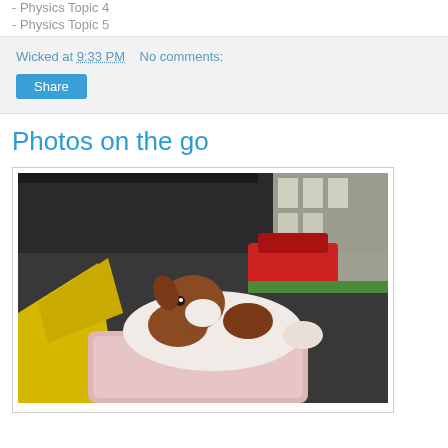- Physics Topic 4
- Physics Topic 5
Wicked at 9:33 PM   No comments:
Share
Photos on the go
[Figure (photo): Photo of stuffed animal toys (a brown and white plush dog lying on a pink cushioned bed, with a yellow plush banana toy to the left) photographed inside a car, with a red car and building visible outside.]